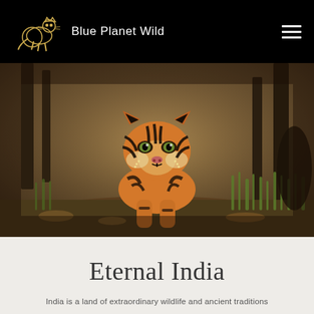Blue Planet Wild
[Figure (photo): A Bengal tiger walking directly toward the camera through a dry forest floor with scattered grass, leaves, and tree trunks visible in the background. The tiger displays its distinctive orange and black striped coat and is photographed in natural forest habitat, likely in India.]
Eternal India
India is a land of extraordinary wildlife and ancient traditions